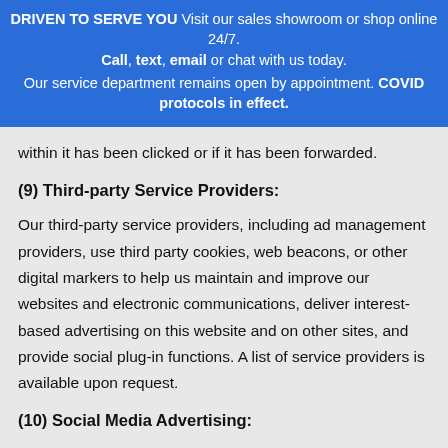DRIVEN TO SERVE YOU Visit our sales showroom or shop online 24/7. Call, text, email or chat with us today. Our service department remains open by appointment. COVID protocols in effect.
within it has been clicked or if it has been forwarded.
(9) Third-party Service Providers:
Our third-party service providers, including ad management providers, use third party cookies, web beacons, or other digital markers to help us maintain and improve our websites and electronic communications, deliver interest-based advertising on this website and on other sites, and provide social plug-in functions. A list of service providers is available upon request.
(10) Social Media Advertising: